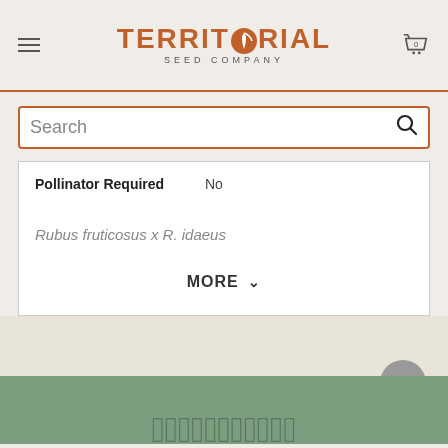[Figure (logo): Territorial Seed Company logo with orange leaf/carrot icon and text]
Search
| Pollinator Required | No |
Rubus fruticosus x R. idaeus
MORE
[Figure (illustration): Decorative script/cursive text at bottom of page over green footer area]